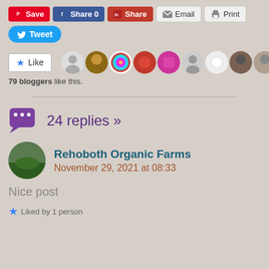[Figure (screenshot): Social share buttons: Pinterest Save, Facebook Share 0, LinkedIn Share, Email, Print, Twitter Tweet]
[Figure (screenshot): Like button with star icon and row of 10 blogger avatar thumbnails]
79 bloggers like this.
[Figure (infographic): 24 replies section header with speech bubble icon]
Rehoboth Organic Farms
November 29, 2021 at 08:33
Nice post
Liked by 1 person